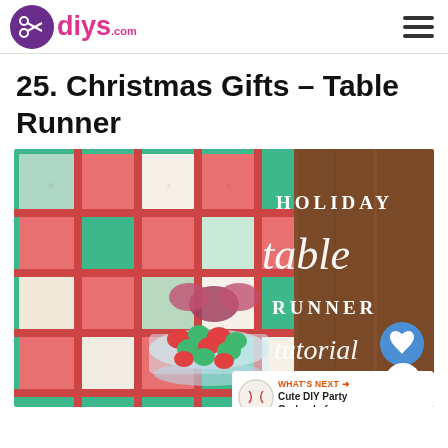diys.com
25. Christmas Gifts – Table Runner
[Figure (photo): Photo of a holiday quilted table runner in red, green and white fabric with candy in a glass bowl, overlaid with text: HOLIDAY table RUNNER tutorial]
WHAT'S NEXT → Cute DIY Party Garlands for...